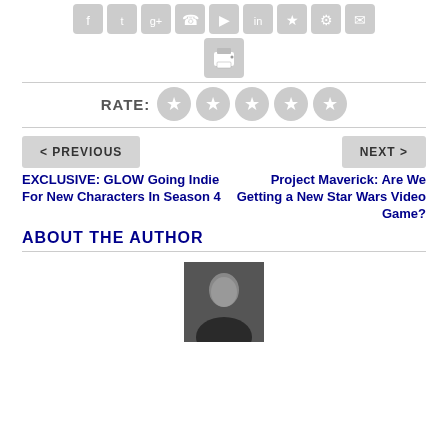[Figure (other): Row of social media sharing icon buttons (gray rounded squares): Facebook, Twitter, Google+, phone, forward, LinkedIn, bookmark, settings, email]
[Figure (other): Print icon button (gray rounded square with printer symbol)]
RATE:
[Figure (other): Five gray star rating circles]
< PREVIOUS
NEXT >
EXCLUSIVE: GLOW Going Indie For New Characters In Season 4
Project Maverick: Are We Getting a New Star Wars Video Game?
ABOUT THE AUTHOR
[Figure (photo): Author headshot photo: man with short gray hair, dark shirt, against dark background]